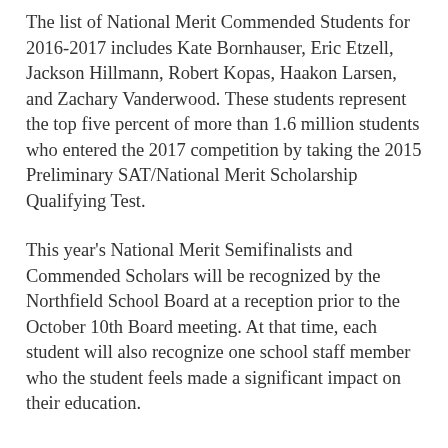The list of National Merit Commended Students for 2016-2017 includes Kate Bornhauser, Eric Etzell, Jackson Hillmann, Robert Kopas, Haakon Larsen, and Zachary Vanderwood. These students represent the top five percent of more than 1.6 million students who entered the 2017 competition by taking the 2015 Preliminary SAT/National Merit Scholarship Qualifying Test.
This year's National Merit Semifinalists and Commended Scholars will be recognized by the Northfield School Board at a reception prior to the October 10th Board meeting. At that time, each student will also recognize one school staff member who the student feels made a significant impact on their education.